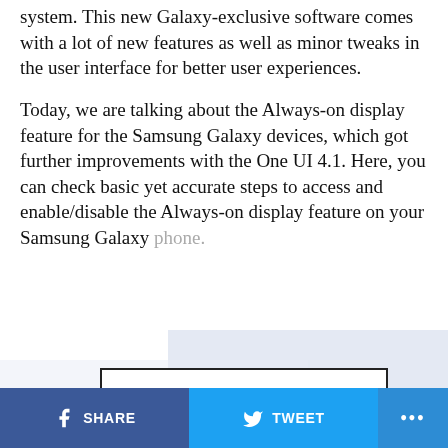system. This new Galaxy-exclusive software comes with a lot of new features as well as minor tweaks in the user interface for better user experiences.
Today, we are talking about the Always-on display feature for the Samsung Galaxy devices, which got further improvements with the One UI 4.1. Here, you can check basic yet accurate steps to access and enable/disable the Always-on display feature on your Samsung Galaxy phone.
[Figure (other): Continue Reading button with decorative blue background elements and ADVERTISEMENT label below]
SHARE  TWEET  ...